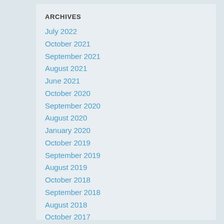ARCHIVES
July 2022
October 2021
September 2021
August 2021
June 2021
October 2020
September 2020
August 2020
January 2020
October 2019
September 2019
August 2019
October 2018
September 2018
August 2018
October 2017
September 2017
August 2017